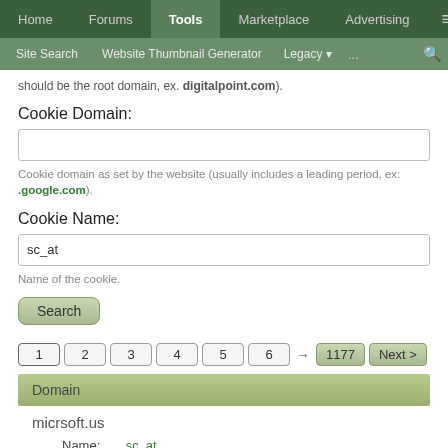Home | Forums | Tools | Marketplace | Advertising
Site Search | Website Thumbnail Generator | Legacy | ...
should be the root domain, ex. digitalpoint.com).
Cookie Domain:
Cookie domain as set by the website (usually includes a leading period, ex: .google.com).
Cookie Name:
sc_at
Name of the cookie.
Search
1 2 3 4 5 6 → 1177 Next >
| Domain |
| --- |
| micrsoft.us |
| Name: sc_at |
| Domain: .snapchat.com |
| Expires: Sep 17, 2023 at 3:59 PM |
| Value: v2|H4sIAAAAAAAAE3GwQ3AMAgEsImQIIRrrts0SEzB8Mmzfp |